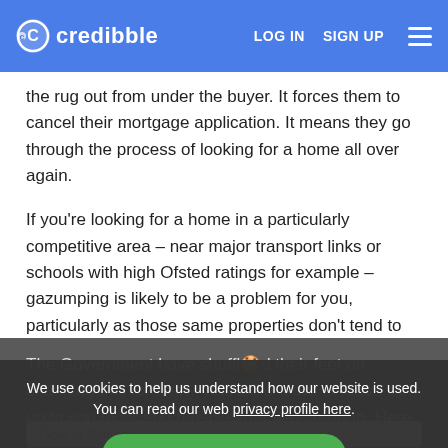credibble | LOG IN | SIGN UP
the rug out from under the buyer. It forces them to cancel their mortgage application. It means they go through the process of looking for a home all over again.
If you're looking for a home in a particularly competitive area – near major transport links or schools with high Ofsted ratings for example – gazumping is likely to be a problem for you, particularly as those same properties don't tend to come cheap!
The Government have shuffled their feet on changing this for many years. For now, at least, it's up to you to try and muscle your way through. Here are some top tips for beating the gazumpers:
We use cookies to help us understand how our website is used. You can read our web privacy profile here.
ACCEPT COOKIES
Table of Contents